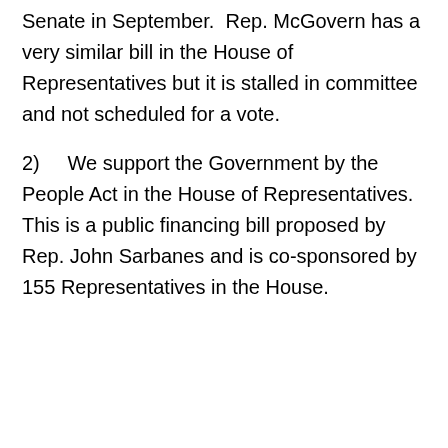Senate in September.  Rep. McGovern has a very similar bill in the House of Representatives but it is stalled in committee and not scheduled for a vote.
2)    We support the Government by the People Act in the House of Representatives.  This is a public financing bill proposed by Rep. John Sarbanes and is co-sponsored by 155 Representatives in the House.